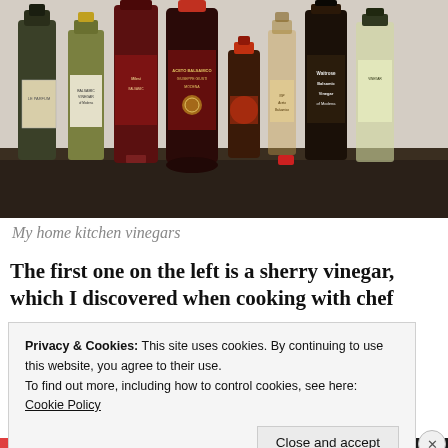[Figure (photo): A collection of vinegar bottles arranged on a dark marble countertop, including balsamic vinegar of Modena, sherry vinegar, and other specialty vinegars.]
My home kitchen vinegars
The first one on the left is a sherry vinegar, which I discovered when cooking with chef
Privacy & Cookies: This site uses cookies. By continuing to use this website, you agree to their use.
To find out more, including how to control cookies, see here: Cookie Policy
Close and accept